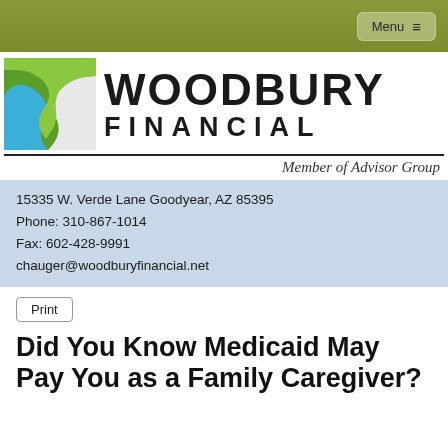Menu ☰
[Figure (logo): Woodbury Financial logo with green S-curve icon, bold WOODBURY FINANCIAL text, Member of Advisor Group tagline]
15335 W. Verde Lane Goodyear, AZ 85395
Phone: 310-867-1014
Fax: 602-428-9991
chauger@woodburyfinancial.net
Print
Did You Know Medicaid May Pay You as a Family Caregiver?